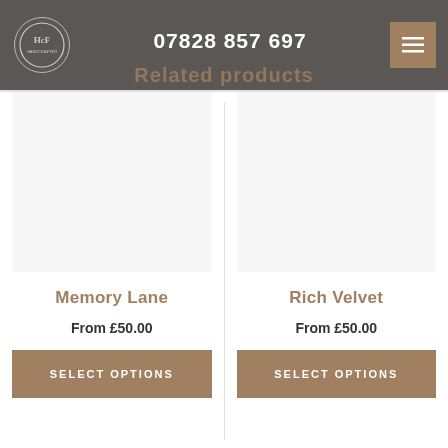07828 857 697
Related products
Memory Lane
From £50.00
Rich Velvet
From £50.00